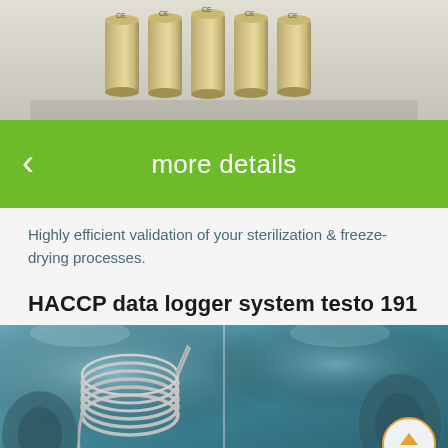[Figure (photo): Row of cylindrical sensor data loggers with CE markings on a metallic background]
[Figure (infographic): Green button bar with left arrow and 'more details' label]
Highly efficient validation of your sterilization & freeze-drying processes.
HACCP data logger system testo 191
[Figure (photo): HACCP data logger system testo 191 with coiled probe cable and industrial equipment in teal/blue tones, with a vertical divider line and a circular TOP navigation button]